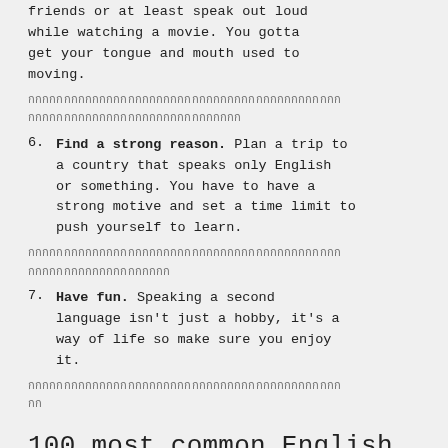friends or at least speak out loud while watching a movie. You gotta get your tongue and mouth used to moving.
[Thai translation text]
6. Find a strong reason. Plan a trip to a country that speaks only English or something. You have to have a strong motive and set a time limit to push yourself to learn.
[Thai translation text]
7. Have fun. Speaking a second language isn't just a hobby, it's a way of life so make sure you enjoy it.
[Thai translation text]
100 most common English